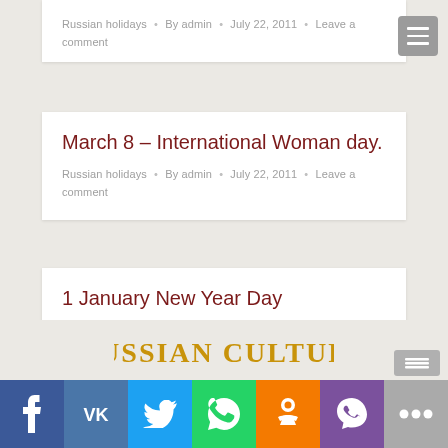Russian holidays • By admin • July 22, 2011 • Leave a comment
March 8 – International Woman day.
Russian holidays • By admin • July 22, 2011 • Leave a comment
1 January New Year Day
Russian holidays • By admin • July 22, 2011 • Leave a comment
Happy New Year!
[Figure (logo): RUSSIAN CULTURE logo text in gold/orange stylized font]
[Figure (infographic): Social media sharing bar with Facebook, VK, Twitter, WhatsApp, Odnoklassniki, Viber, and more buttons]